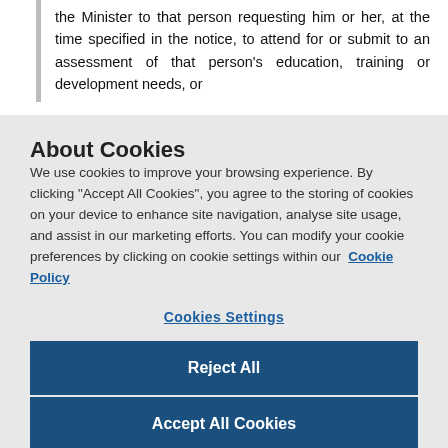the Minister to that person requesting him or her, at the time specified in the notice, to attend for or submit to an assessment of that person's education, training or development needs, or
About Cookies
We use cookies to improve your browsing experience. By clicking "Accept All Cookies", you agree to the storing of cookies on your device to enhance site navigation, analyse site usage, and assist in our marketing efforts. You can modify your cookie preferences by clicking on cookie settings within our Cookie Policy
Cookies Settings
Reject All
Accept All Cookies